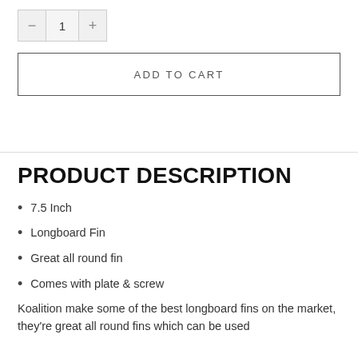[Figure (other): Quantity selector widget showing minus button, value of 1, and plus button]
ADD TO CART
PRODUCT DESCRIPTION
7.5 Inch
Longboard Fin
Great all round fin
Comes with plate & screw
Koalition make some of the best longboard fins on the market, they're great all round fins which can be used